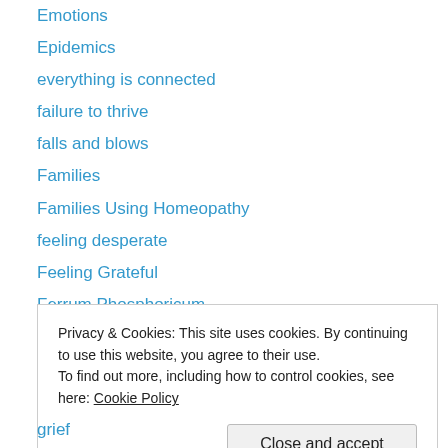Emotions
Epidemics
everything is connected
failure to thrive
falls and blows
Families
Families Using Homeopathy
feeling desperate
Feeling Grateful
Ferrum Phosphoricum
fevers
Fibromyalgia
Find A Homeopath
Privacy & Cookies: This site uses cookies. By continuing to use this website, you agree to their use. To find out more, including how to control cookies, see here: Cookie Policy
grief